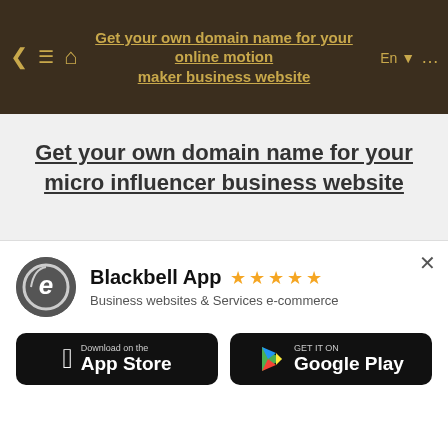Get your own domain name for your online motion maker business website
Get your own domain name for your micro influencer business website
Get your own domain name for your urban developer business website
[Figure (infographic): Blackbell App promotional banner with logo, 5 star rating, subtitle 'Business websites & Services e-commerce', App Store and Google Play download buttons]